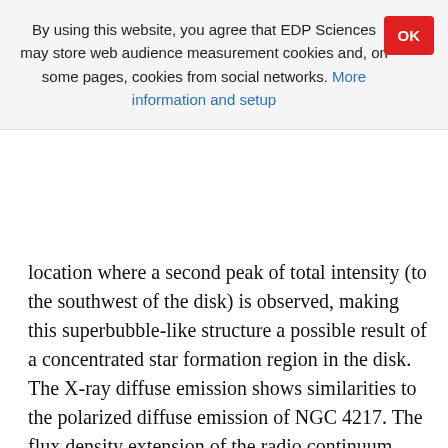By using this website, you agree that EDP Sciences may store web audience measurement cookies and, on some pages, cookies from social networks. More information and setup
location where a second peak of total intensity (to the southwest of the disk) is observed, making this superbubble-like structure a possible result of a concentrated star formation region in the disk. The X-ray diffuse emission shows similarities to the polarized diffuse emission of NGC 4217. The flux density extension of the radio continuum halo increases toward lower frequencies. While the total flux density of the disk and halo are comparable at C-band, the contribution of the disk flux density decreases toward LOFAR to 18% of the total flux density. Dumbbell-shaped structures are present at C-band and at the LOFAR frequency. Total intensity profiles at the two CHANG-ES bands and the LOFAR frequency and